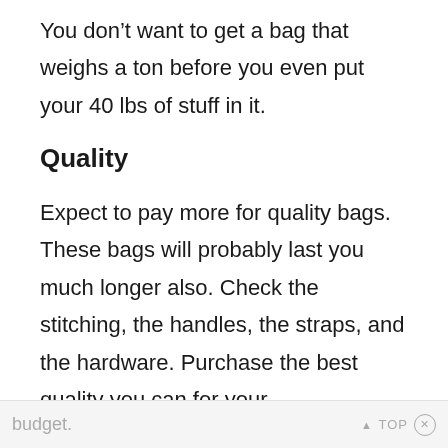You don’t want to get a bag that weighs a ton before you even put your 40 lbs of stuff in it.
Quality
Expect to pay more for quality bags. These bags will probably last you much longer also. Check the stitching, the handles, the straps, and the hardware. Purchase the best quality you can for your
budget.